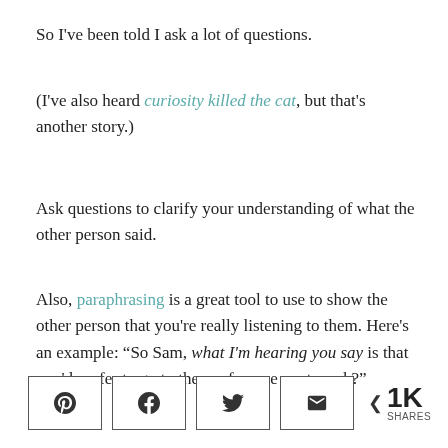So I've been told I ask a lot of questions.
(I've also heard curiosity killed the cat, but that's another story.)
Ask questions to clarify your understanding of what the other person said.
Also, paraphrasing is a great tool to use to show the other person that you're really listening to them. Here's an example: “So Sam, what I'm hearing you say is that you'd prefer to go to the conference next week?”
[Figure (infographic): Social share bar with Pinterest, Facebook, Twitter, Email buttons and a share count showing 1K SHARES]